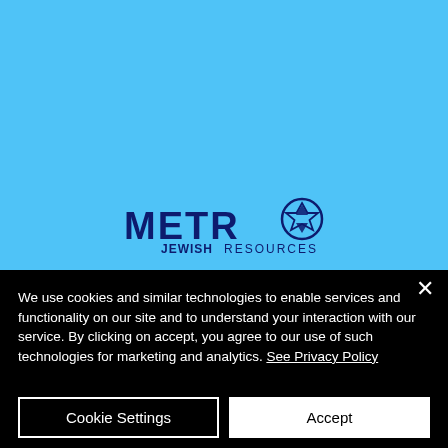[Figure (logo): Metro Jewish Resources logo on light blue background — bold dark navy 'METRO' text with a Star of David icon replacing the 'O', and 'JEWISH RESOURCES' in smaller text below]
We use cookies and similar technologies to enable services and functionality on our site and to understand your interaction with our service. By clicking on accept, you agree to our use of such technologies for marketing and analytics. See Privacy Policy
Cookie Settings
Accept